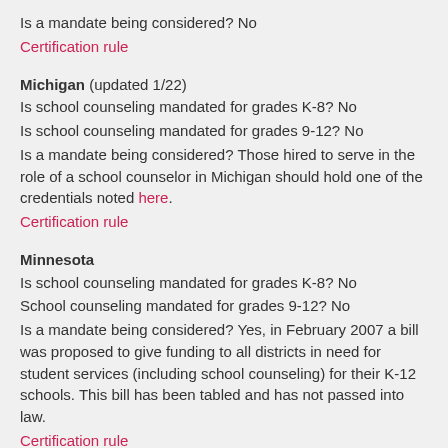Is a mandate being considered? No
Certification rule
Michigan (updated 1/22)
Is school counseling mandated for grades K-8? No
Is school counseling mandated for grades 9-12? No
Is a mandate being considered? Those hired to serve in the role of a school counselor in Michigan should hold one of the credentials noted here.
Certification rule
Minnesota
Is school counseling mandated for grades K-8? No
School counseling mandated for grades 9-12? No
Is a mandate being considered? Yes, in February 2007 a bill was proposed to give funding to all districts in need for student services (including school counseling) for their K-12 schools. This bill has been tabled and has not passed into law.
Certification rule
Mississippi
Is school counseling mandated for grades K-8? No*
Is school counseling mandated for grades 9-12? Yes